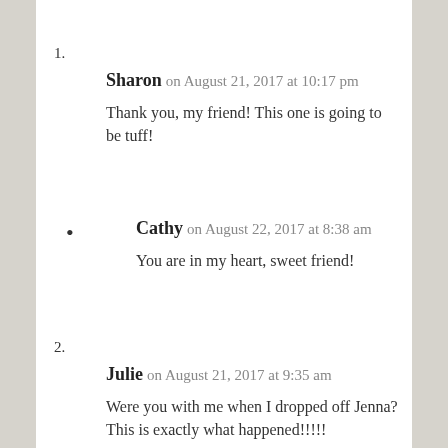1. Sharon on August 21, 2017 at 10:17 pm — Thank you, my friend! This one is going to be tuff!
• Cathy on August 22, 2017 at 8:38 am — You are in my heart, sweet friend!
2. Julie on August 21, 2017 at 9:35 am — Were you with me when I dropped off Jenna? This is exactly what happened!!!!!